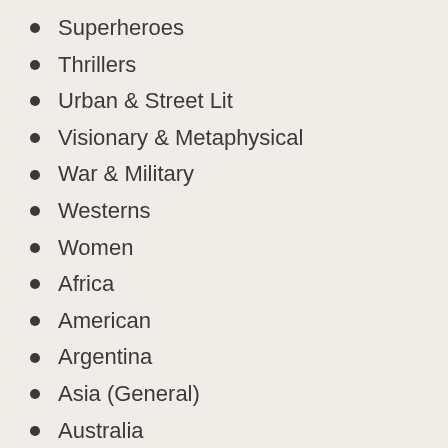Superheroes
Thrillers
Urban & Street Lit
Visionary & Metaphysical
War & Military
Westerns
Women
Africa
American
Argentina
Asia (General)
Australia
Austria
Brazil
Canada
Caribbean & West Indies